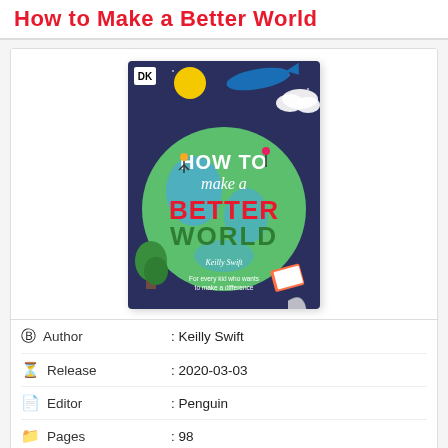How to Make a Better World
[Figure (illustration): Book cover of 'How to Make a Better World' by Keilly Swift, published by DK, showing children and animals on a globe with colorful text reading 'HOW TO make a BETTER WORLD', subtitle 'For every kid who wants to make a difference']
| Author | Keilly Swift |
| Release | 2020-03-03 |
| Editor | Penguin |
| Pages | 98 |
| ISBN | 9780744022674 |
| Language | en |